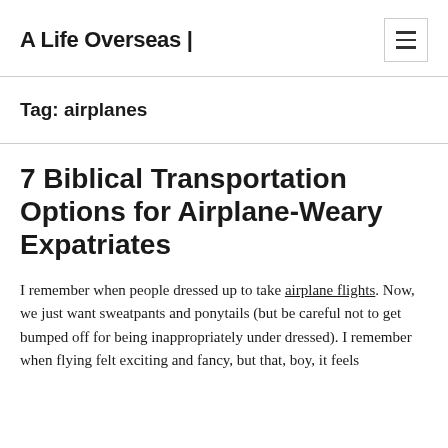A Life Overseas |
Tag: airplanes
7 Biblical Transportation Options for Airplane-Weary Expatriates
I remember when people dressed up to take airplane flights. Now, we just want sweatpants and ponytails (but be careful not to get bumped off for being inappropriately under dressed). I remember when flying felt exciting and fancy, but that, boy, it feels